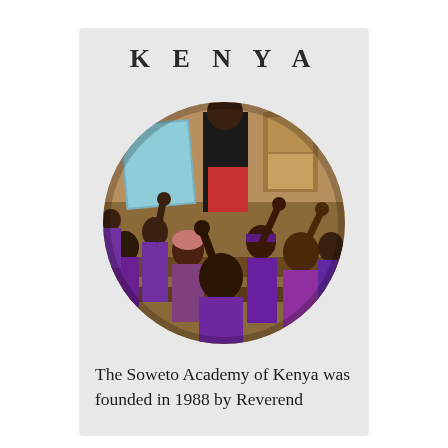KENYA
[Figure (photo): Circular cropped photo of a classroom in Kenya showing children in purple uniforms raising their hands, with a teacher standing at the front near a chalkboard.]
The Soweto Academy of Kenya was founded in 1988 by Reverend